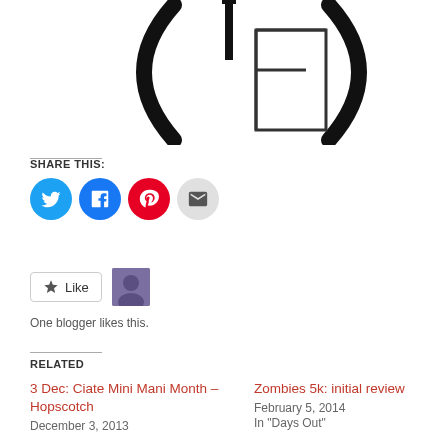[Figure (logo): Partial logo showing parentheses and F letter mark in outline style]
SHARE THIS:
[Figure (infographic): Social share buttons: Twitter (blue circle), Facebook (blue circle), Pinterest (red circle), Email (gray circle)]
[Figure (infographic): Like button with star icon and text 'Like', plus a small blogger avatar thumbnail]
One blogger likes this.
RELATED
3 Dec: Ciate Mini Mani Month – Hopscotch
December 3, 2013
Zombies 5k: initial review
February 5, 2014
In "Days Out"